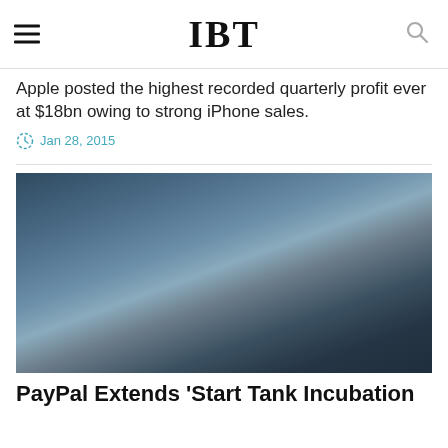IBT
Apple posted the highest recorded quarterly profit ever at $18bn owing to strong iPhone sales.
Jan 28, 2015
[Figure (photo): Blurred dark blue/grey atmospheric photo, possibly showing a dimly lit scene]
PayPal Extends 'Start Tank Incubation